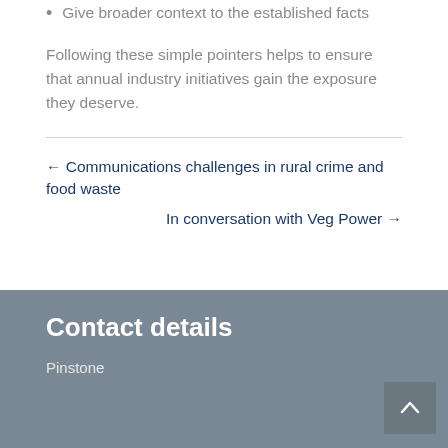Give broader context to the established facts
Following these simple pointers helps to ensure that annual industry initiatives gain the exposure they deserve.
← Communications challenges in rural crime and food waste
In conversation with Veg Power →
Contact details
Pinstone